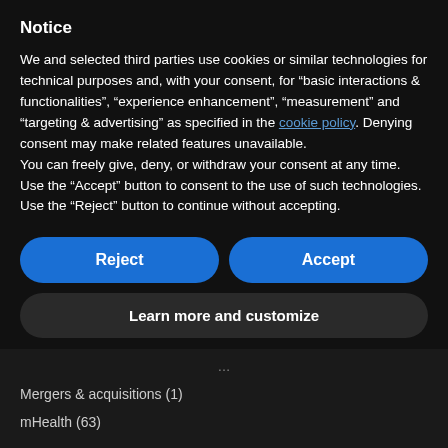Notice
We and selected third parties use cookies or similar technologies for technical purposes and, with your consent, for “basic interactions & functionalities”, “experience enhancement”, “measurement” and “targeting & advertising” as specified in the cookie policy. Denying consent may make related features unavailable.
You can freely give, deny, or withdraw your consent at any time. Use the “Accept” button to consent to the use of such technologies. Use the “Reject” button to continue without accepting.
Reject
Accept
Learn more and customize
Mergers & acquisitions (1)
mHealth (63)